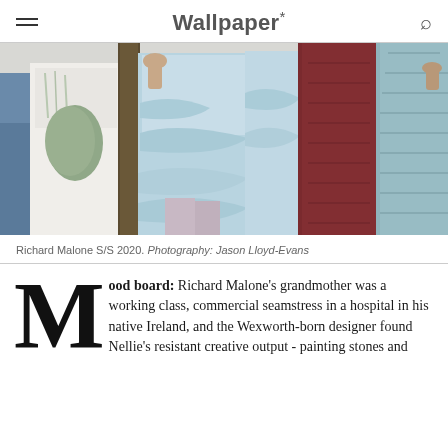Wallpaper*
[Figure (photo): Fashion backstage photo showing multiple models wearing draped garments in various colors including white, pale blue, burgundy, and teal. Richard Malone S/S 2020.]
Richard Malone S/S 2020. Photography: Jason Lloyd-Evans
Mood board: Richard Malone's grandmother was a working class, commercial seamstress in a hospital in his native Ireland, and the Wexworth-born designer found Nellie's resistant creative output - painting stones and